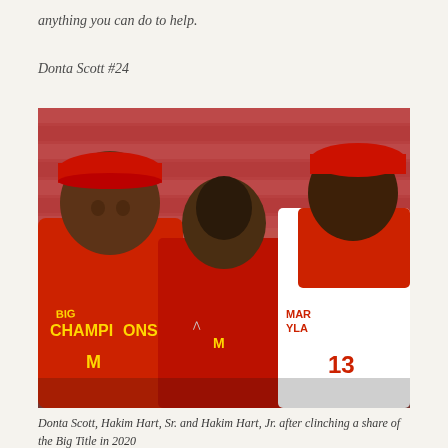anything you can do to help.
Donta Scott #24
[Figure (photo): Three men posing together on a basketball court with red arena seats in the background. Two are wearing red Maryland Big Ten Men's Basketball Champions shirts with red caps, and one in the middle is wearing a red Under Armour Maryland shirt. The men are smiling and have their arms around each other.]
Donta Scott, Hakim Hart, Sr. and Hakim Hart, Jr. after clinching a share of the Big Title in 2020